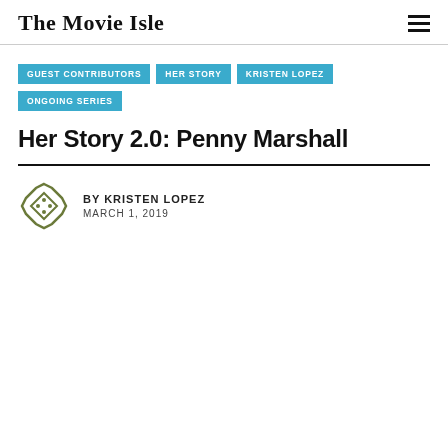The Movie Isle
GUEST CONTRIBUTORS
HER STORY
KRISTEN LOPEZ
ONGOING SERIES
Her Story 2.0: Penny Marshall
BY KRISTEN LOPEZ
MARCH 1, 2019